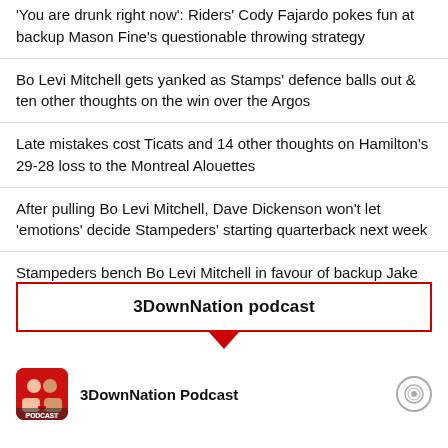'You are drunk right now': Riders' Cody Fajardo pokes fun at backup Mason Fine's questionable throwing strategy
Bo Levi Mitchell gets yanked as Stamps' defence balls out & ten other thoughts on the win over the Argos
Late mistakes cost Ticats and 14 other thoughts on Hamilton's 29-28 loss to the Montreal Alouettes
After pulling Bo Levi Mitchell, Dave Dickenson won't let 'emotions' decide Stampeders' starting quarterback next week
Stampeders bench Bo Levi Mitchell in favour of backup Jake Maier
3DownNation podcast
3DownNation Podcast